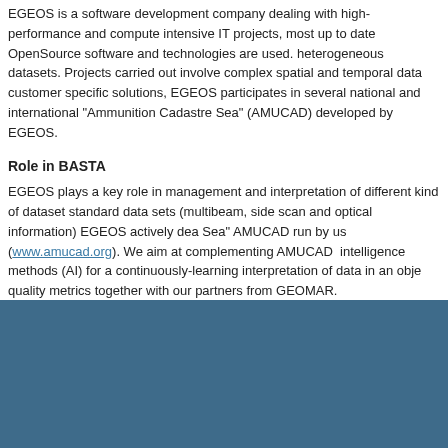EGEOS is a software development company dealing with high-performance and compute intensive IT projects, most up to date OpenSource software and technologies are used. heterogeneous datasets. Projects carried out involve complex spatial and temporal data customer specific solutions, EGEOS participates in several national and international "Ammunition Cadastre Sea" (AMUCAD) developed by EGEOS.
Role in BASTA
EGEOS plays a key role in management and interpretation of different kind of datasets standard data sets (multibeam, side scan and optical information) EGEOS actively dea Sea" AMUCAD run by us (www.amucad.org). We aim at complementing AMUCAD intelligence methods (AI) for a continuously-learning interpretation of data in an obje quality metrics together with our partners from GEOMAR.
Projects
North Sea Wrecks (2019 - 2023) Risk assessment of wrecks in the North Sea
ERPAD (2018 - 2021) Intelligent handling of historical documents and written sources
DAIMON (2016 - 2019) and DAIMON2 (2019 - 2021) Decision making support for t